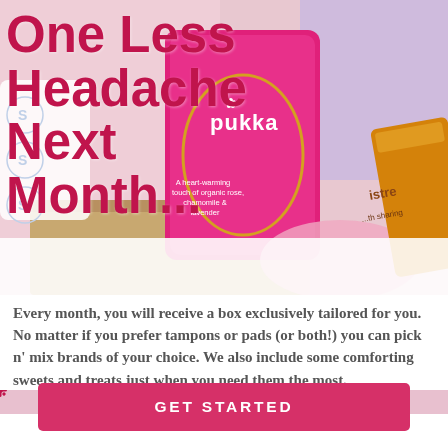[Figure (photo): Hero image showing a monthly subscription box with feminine hygiene products, Pukka tea packet, chocolate bar, and pink accessories on a warm background]
One Less Headache Next Month...
Every month, you will receive a box exclusively tailored for you. No matter if you prefer tampons or pads (or both!) you can pick n' mix brands of your choice. We also include some comforting sweets and treats just when you need them the most.
[Figure (illustration): Decorative pink floral/snowflake border pattern]
GET STARTED